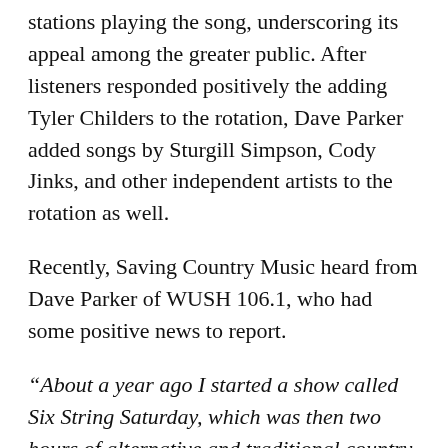stations playing the song, underscoring its appeal among the greater public. After listeners responded positively the adding Tyler Childers to the rotation, Dave Parker added songs by Sturgill Simpson, Cody Jinks, and other independent artists to the rotation as well.
Recently, Saving Country Music heard from Dave Parker of WUSH 106.1, who had some positive news to report.
“About a year ago I started a show called Six String Saturday, which was then two hours of alternative and traditional country music,” says Dave Parker. “After finding great success in the spring of last year from being the only station on the Mediabase panel to ever add Tyler Childers, Sturgill Simpson, and